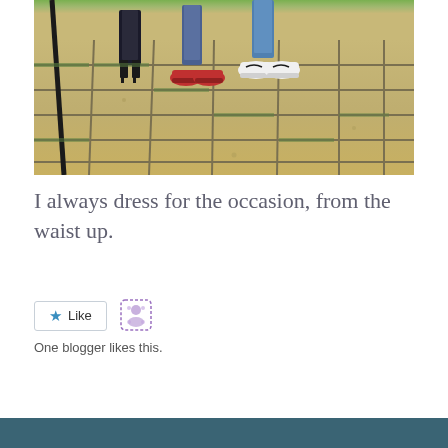[Figure (photo): Photo showing legs and feet of people standing on stone paving tiles with grass between them. One person wearing black heels, one in red sneakers, one in Nike white sneakers. A black tripod or cane visible on the left.]
I always dress for the occasion, from the waist up.
Like  One blogger likes this.